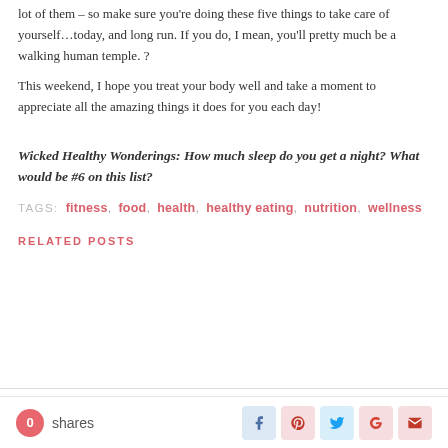lot of them – so make sure you're doing these five things to take care of yourself…today, and long run. If you do, I mean, you'll pretty much be a walking human temple. ?
This weekend, I hope you treat your body well and take a moment to appreciate all the amazing things it does for you each day!
Wicked Healthy Wonderings: How much sleep do you get a night? What would be #6 on this list?
TAGS: fitness, food, health, healthy eating, nutrition, wellness
RELATED POSTS
0 shares